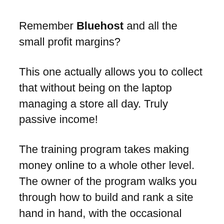Remember Bluehost and all the small profit margins?
This one actually allows you to collect that without being on the laptop managing a store all day. Truly passive income!
The training program takes making money online to a whole other level. The owner of the program walks you through how to build and rank a site hand in hand, with the occasional voice over when he is sharing his screen.
You will learn the importance of keywords, website name, how to send call notifications via email